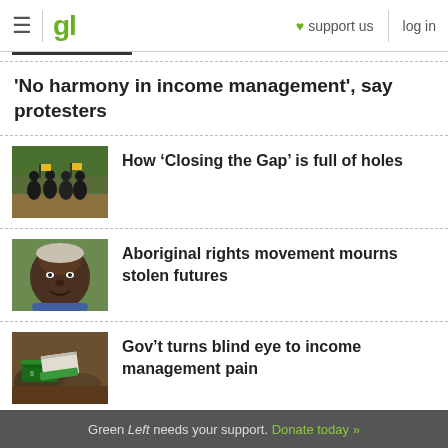gl | support us | log in
'No harmony in income management', say protesters
[Figure (photo): Group of people in dark clothing running outdoors with flags, protest scene]
How ‘Closing the Gap’ is full of holes
[Figure (photo): Elderly Aboriginal man smiling outdoors]
Aboriginal rights movement mourns stolen futures
[Figure (photo): Close-up of banknotes partially buried in dirt]
Gov’t turns blind eye to income management pain
Green Left needs your support. Donate today »